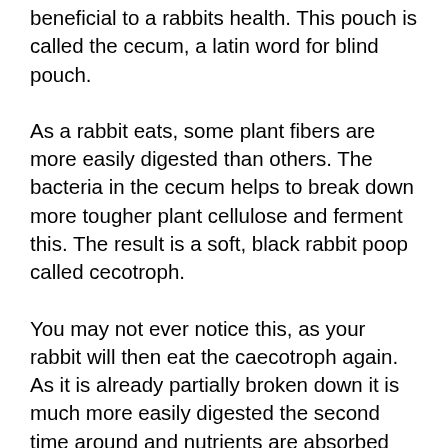beneficial to a rabbits health. This pouch is called the cecum, a latin word for blind pouch.
As a rabbit eats, some plant fibers are more easily digested than others. The bacteria in the cecum helps to break down more tougher plant cellulose and ferment this. The result is a soft, black rabbit poop called cecotroph.
You may not ever notice this, as your rabbit will then eat the caecotroph again. As it is already partially broken down it is much more easily digested the second time around and nutrients are absorbed and digested by the rabbit. The result is the smaller, harder more pellet like rabbit droppings you may be